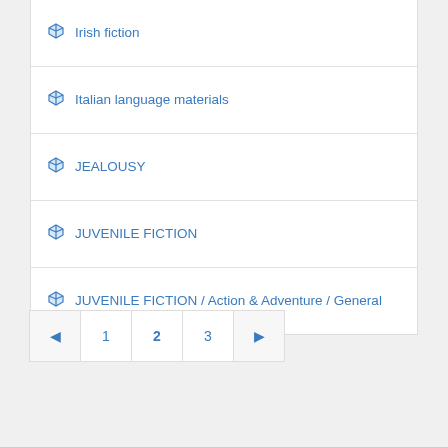Irish fiction
Italian language materials
JEALOUSY
JUVENILE FICTION
JUVENILE FICTION / Action & Adventure / General
◄ 1 2 3 ►